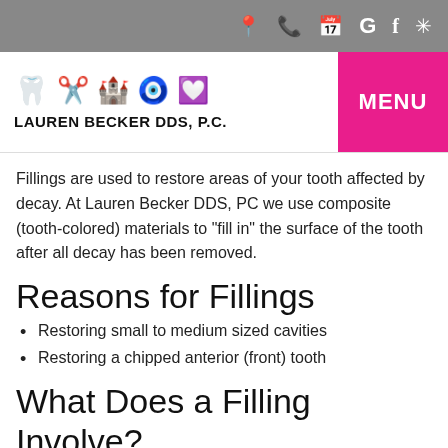LAUREN BECKER DDS, P.C. — Navigation bar with icons and MENU button
Fillings are used to restore areas of your tooth affected by decay. At Lauren Becker DDS, PC we use composite (tooth-colored) materials to "fill in" the surface of the tooth after all decay has been removed.
Reasons for Fillings
Restoring small to medium sized cavities
Restoring a chipped anterior (front) tooth
What Does a Filling Involve?
First, Dr. Lauren Becker will answer any